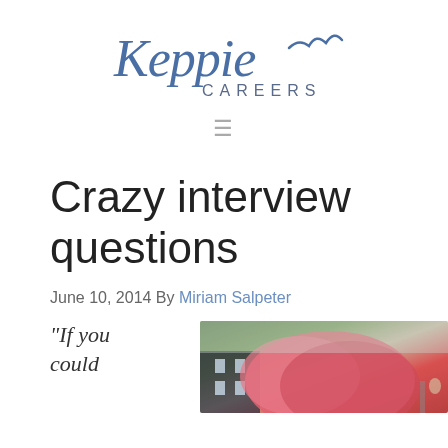[Figure (logo): Keppie Careers logo in blue script and serif lettering]
Crazy interview questions
June 10, 2014 By Miriam Salpeter
“If you could
[Figure (photo): Outdoor photo with pink flowers or shrub in foreground and building in background]